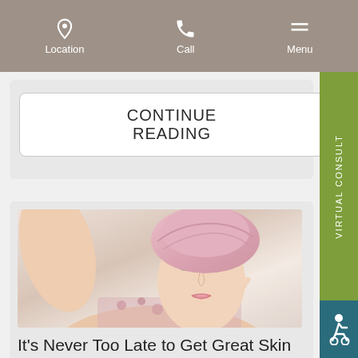Location | Call | Menu
CONTINUE READING
[Figure (photo): Young woman with pink towel wrapped around her head, touching her face, skincare concept]
It's Never Too Late to Get Great Skin